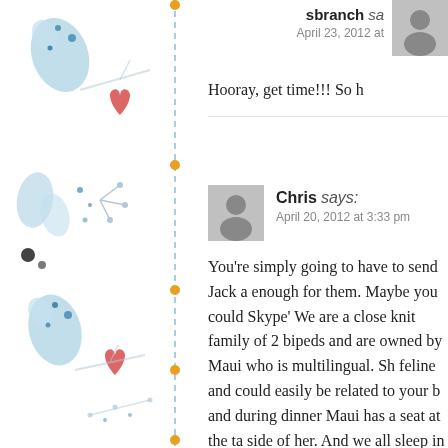[Figure (illustration): Decorative left sidebar with blue botanical/folk art illustrations on white background, with a vertical dashed blue line and orange dots]
sbranch says:
April 23, 2012 at
Hooray, get time!!! So h
Chris says:
April 20, 2012 at 3:33 pm
You're simply going to have to send Jack a enough for them. Maybe you could Skype' We are a close knit family of 2 bipeds and are owned by Maui who is multilingual. Sh feline and could easily be related to your b and during dinner Maui has a seat at the ta side of her. And we all sleep in the same ro bed. I swear she trained them that way. Th Hawaiian trip so I'm not sure how I would